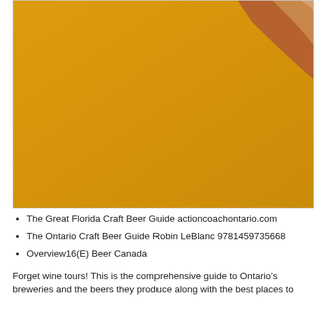[Figure (photo): Close-up photo of a golden-yellow beer surface with an amber/orange wooden object (possibly a beer tap handle or wooden board) visible in the upper right corner. The majority of the image is a rich golden amber color typical of craft beer.]
The Great Florida Craft Beer Guide actioncoachontario.com
The Ontario Craft Beer Guide Robin LeBlanc 9781459735668
Overview16(E) Beer Canada
Forget wine tours! This is the comprehensive guide to Ontario’s breweries and the beers they produce along with the best places to